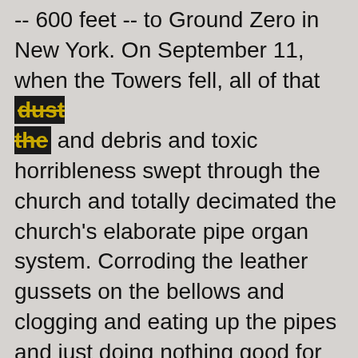-- 600 feet -- to Ground Zero in New York. On September 11, when the Towers fell, all of that dust and debris and toxic horribleness swept through the church and totally decimated the church's elaborate pipe organ system. Corroding the leather gussets on the bellows and clogging and eating up the pipes and just doing nothing good for any future music production needs. Now, you might think that you just head on down to your Super Wal-Mart and pick up a pipe organ set along with your jars of peaches and various lotions and creams, but the truth is, actual pipe organs – the real, full-on, giant cathedral church type with 100s of stops/notes – take YEARS to build, and the people of Trinity Wall Street wanted their organ back up and running. So, they did something rather risky and daring and cavalier and smacking in the face of conventional pipe organ world thinking: they went digital.
So now instead of actual pipes, each organ note in